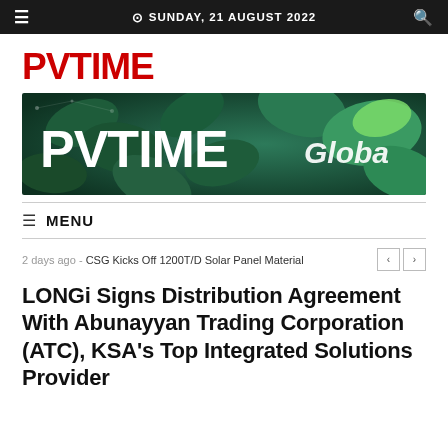☰  ⊙ SUNDAY, 21 AUGUST 2022  🔍
PVTIME
[Figure (illustration): PVTIME Global banner with green leaf background, white PVTIME text on left and italic 'Globa' text on right]
☰ MENU
2 days ago - CSG Kicks Off 1200T/D Solar Panel Material
LONGi Signs Distribution Agreement With Abunayyan Trading Corporation (ATC), KSA's Top Integrated Solutions Provider